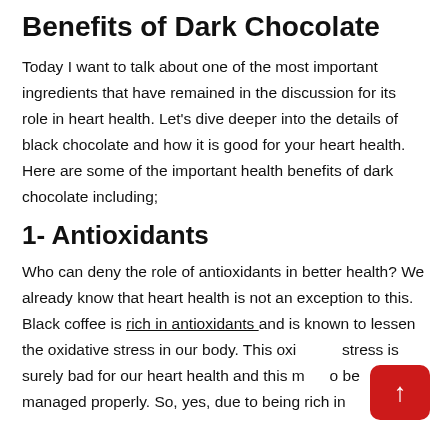Benefits of Dark Chocolate
Today I want to talk about one of the most important ingredients that have remained in the discussion for its role in heart health. Let's dive deeper into the details of black chocolate and how it is good for your heart health. Here are some of the important health benefits of dark chocolate including;
1- Antioxidants
Who can deny the role of antioxidants in better health? We already know that heart health is not an exception to this. Black coffee is rich in antioxidants and is known to lessen the oxidative stress in our body. This oxidative stress is surely bad for our heart health and this must be managed properly. So, yes, due to being rich in